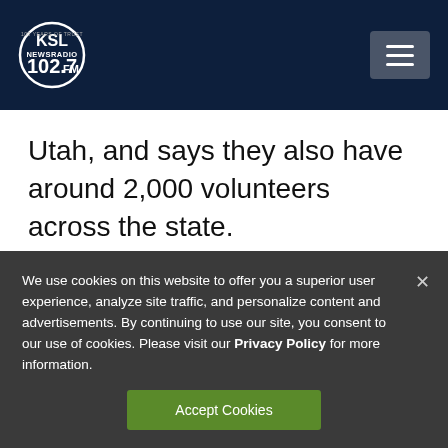KSL NewsRadio 102.7FM
Utah, and says they also have around 2,000 volunteers across the state.
We use cookies on this website to offer you a superior user experience, analyze site traffic, and personalize content and advertisements. By continuing to use our site, you consent to our use of cookies. Please visit our Privacy Policy for more information.
Accept Cookies